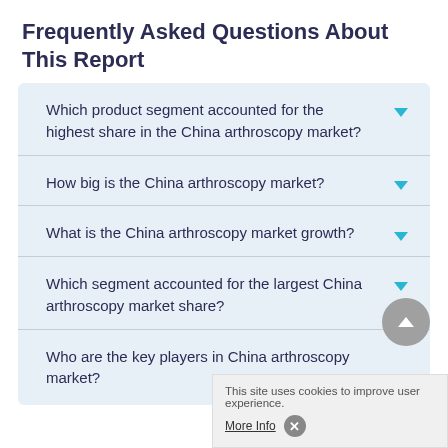Frequently Asked Questions About This Report
Which product segment accounted for the highest share in the China arthroscopy market?
How big is the China arthroscopy market?
What is the China arthroscopy market growth?
Which segment accounted for the largest China arthroscopy market share?
Who are the key players in China arthroscopy market?
This site uses cookies to improve user experience. More Info